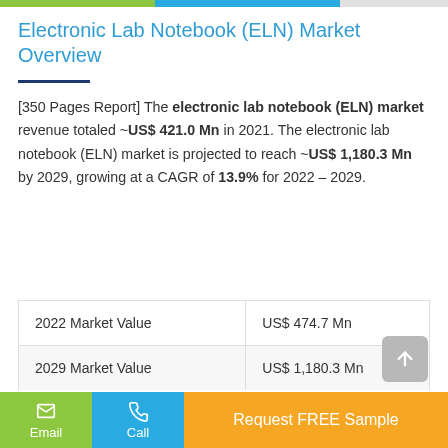Electronic Lab Notebook (ELN) Market Overview
[350 Pages Report] The electronic lab notebook (ELN) market revenue totaled ~US$ 421.0 Mn in 2021. The electronic lab notebook (ELN) market is projected to reach ~US$ 1,180.3 Mn by 2029, growing at a CAGR of 13.9% for 2022 – 2029.
| 2022 Market Value | US$ 474.7 Mn |
| 2029 Market Value | US$ 1,180.3 Mn |
| CAGR% (2022-2029) | 13.9% |